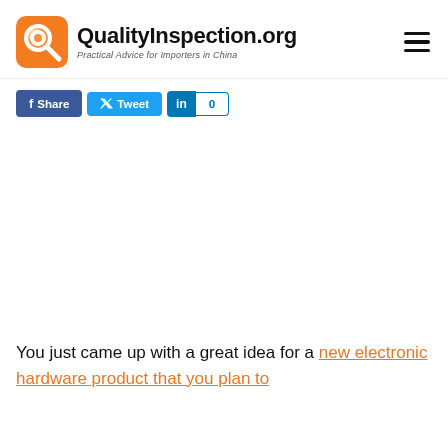QualityInspection.org — Practical Advice for Importers in China
[Figure (logo): QualityInspection.org logo with orange rounded square icon and magnifying glass graphic]
Share   Tweet   in  0
You just came up with a great idea for a new electronic hardware product that you plan to